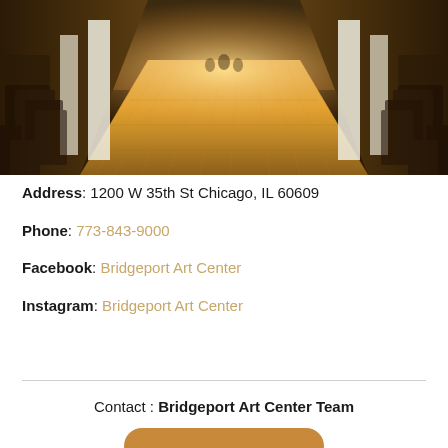[Figure (photo): Interior of an event venue showing a long aisle with wooden floors, rows of chairs on either side, white pillars, and warm golden lighting creating a perspective view toward the far end of the room.]
Address: 1200 W 35th St Chicago, IL 60609
Phone: 773-843-9000
Facebook: Bridgeport Art Center
Instagram: Bridgeport Art Center
Contact : Bridgeport Art Center Team